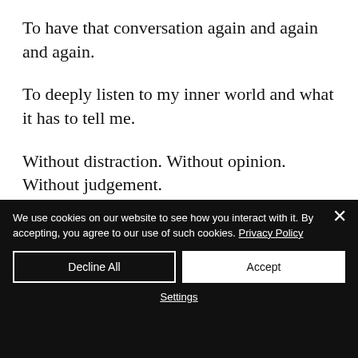To have that conversation again and again and again.
To deeply listen to my inner world and what it has to tell me.
Without distraction. Without opinion. Without judgement.
And I will continue to do so.
We use cookies on our website to see how you interact with it. By accepting, you agree to our use of such cookies. Privacy Policy
Decline All
Accept
Settings